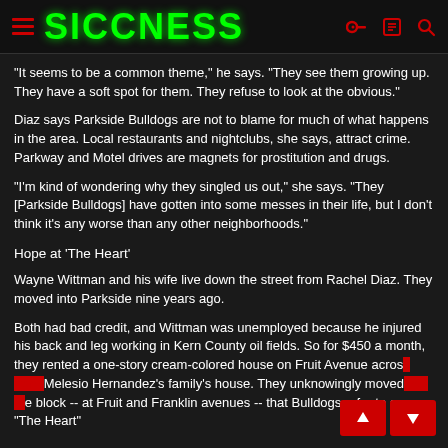SICCNESS
"It seems to be a common theme," he says. "They see them growing up. They have a soft spot for them. They refuse to look at the obvious."
Diaz says Parkside Bulldogs are not to blame for much of what happens in the area. Local restaurants and nightclubs, she says, attract crime. Parkway and Motel drives are magnets for prostitution and drugs.
"I'm kind of wondering why they singled us out," she says. "They [Parkside Bulldogs] have gotten into some messes in their life, but I don't think it's any worse than any other neighborhoods."
Hope at 'The Heart'
Wayne Wittman and his wife live down the street from Rachel Diaz. They moved into Parkside nine years ago.
Both had bad credit, and Wittman was unemployed because he injured his back and leg working in Kern County oil fields. So for $450 a month, they rented a one-story cream-colored house on Fruit Avenue across from Melesio Hernandez's family's house. They unknowingly moved into the block -- at Fruit and Franklin avenues -- that Bulldogs refer to as "The Heart"